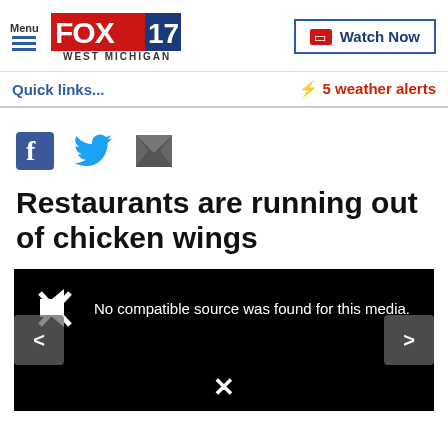FOX 17 WEST MICHIGAN | Menu | Watch Now
Quick links...
⚡ 5 weather alerts
[Figure (screenshot): Social sharing icons: Facebook, Twitter, Email]
Restaurants are running out of chicken wings
[Figure (screenshot): Video player showing error: No compatible source was found for this media. Navigation arrows left and right, close X button.]